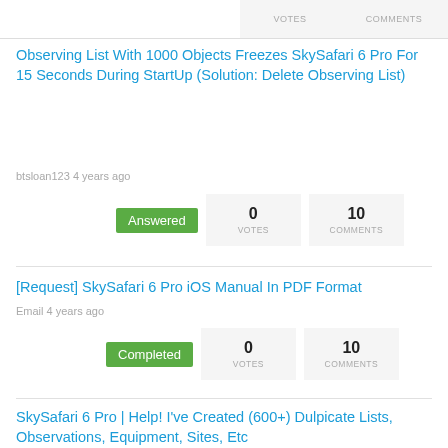VOTES   COMMENTS
Observing List With 1000 Objects Freezes SkySafari 6 Pro For 15 Seconds During StartUp (Solution: Delete Observing List)
btsloan123 4 years ago
Answered   0 VOTES   10 COMMENTS
[Request] SkySafari 6 Pro iOS Manual In PDF Format
Email 4 years ago
Completed   0 VOTES   10 COMMENTS
SkySafari 6 Pro | Help! I've Created (600+) Dulpicate Lists, Observations, Equipment, Sites, Etc